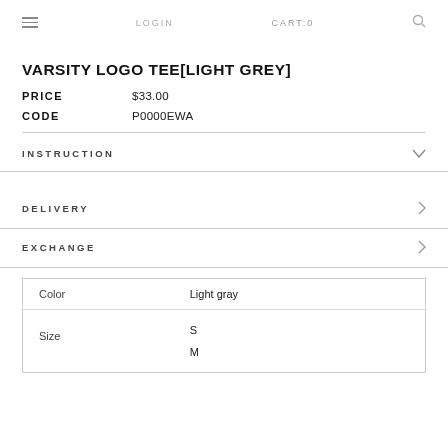LOGIN   CART:0
VARSITY LOGO TEE[LIGHT GREY]
PRICE   $33.00
CODE   P0000EWA
INSTRUCTION
DELIVERY
EXCHANGE
|  |  |
| --- | --- |
| Color | Light gray |
| Size | S
M |